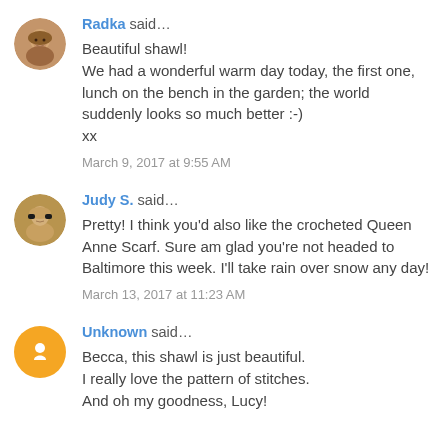Radka said… Beautiful shawl! We had a wonderful warm day today, the first one, lunch on the bench in the garden; the world suddenly looks so much better :-) xx
March 9, 2017 at 9:55 AM
Judy S. said… Pretty! I think you'd also like the crocheted Queen Anne Scarf. Sure am glad you're not headed to Baltimore this week. I'll take rain over snow any day!
March 13, 2017 at 11:23 AM
Unknown said… Becca, this shawl is just beautiful. I really love the pattern of stitches. And oh my goodness, Lucy!